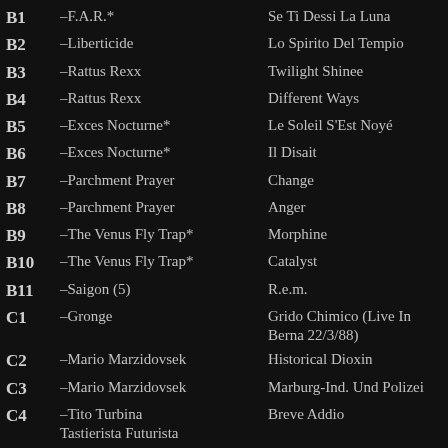| Code | Artist | Title |
| --- | --- | --- |
| B1 | –F.A.R.* | Se Ti Dessi La Luna |
| B2 | –Liberticide | Lo Spirito Del Tempio |
| B3 | –Rattus Rexx | Twilight Shinee |
| B4 | –Rattus Rexx | Different Ways |
| B5 | –Exces Nocturne* | Le Soleil S'Est Noyé |
| B6 | –Exces Nocturne* | Il Disait |
| B7 | –Parchment Prayer | Change |
| B8 | –Parchment Prayer | Anger |
| B9 | –The Venus Fly Trap* | Morphine |
| B10 | –The Venus Fly Trap* | Catalyst |
| B11 | –Saigon (5) | R.e.m. |
| C1 | –Gronge | Grido Chimico (Live In Berna 22/3/88) |
| C2 | –Mario Marzidovsek | Historical Dioxin |
| C3 | –Mario Marzidovsek | Marburg-Ind. Und Polizei |
| C4 | –Tito Turbina
Tastierista Futurista | Breve Addio |
| C5 | –Tito Turbina
Tastierista Futurista | Episodio 3 |